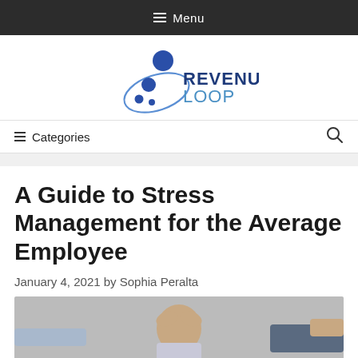Menu
[Figure (logo): Revenue Loop logo: dark blue circle with smaller blue circles and an ellipse orbit shape, beside the text 'REVENUE LOOP' in bold dark blue and light blue]
≡ Categories
A Guide to Stress Management for the Average Employee
January 4, 2021 by Sophia Peralta
[Figure (photo): A stressed employee sitting with head in hands, flanked by pointing hands from both sides, on a gray background]